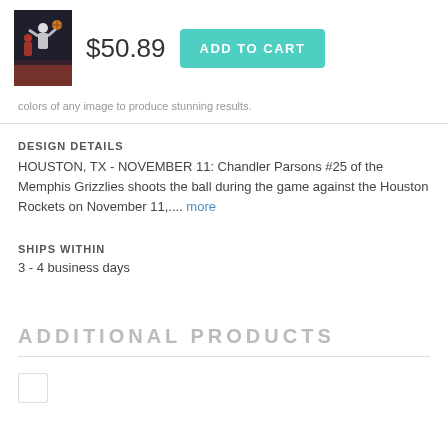[Figure (photo): Small thumbnail of basketball product image showing players on court]
$50.89
ADD TO CART
colors of any image to produce stunning results.
DESIGN DETAILS
HOUSTON, TX - NOVEMBER 11: Chandler Parsons #25 of the Memphis Grizzlies shoots the ball during the game against the Houston Rockets on November 11,.... more
SHIPS WITHIN
3 - 4 business days
ADDITIONAL PRODUCTS
[Figure (photo): Small placeholder thumbnail image]